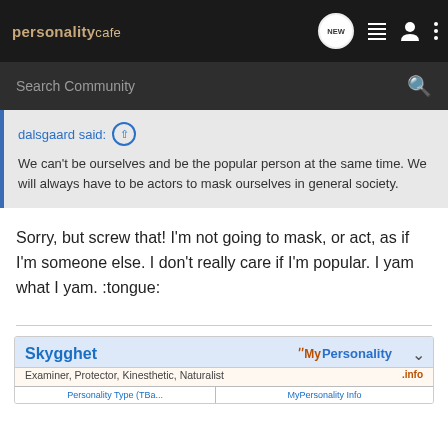[Figure (screenshot): personalitycafe navigation bar with logo and icons]
[Figure (screenshot): Search Community search bar]
dalsgaard said: ↑
We can't be ourselves and be the popular person at the same time. We will always have to be actors to mask ourselves in general society.
Sorry, but screw that! I'm not going to mask, or act, as if I'm someone else. I don't really care if I'm popular. I yam what I yam. :tongue:
[Figure (screenshot): Skygghet user card — Examiner, Protector, Kinesthetic, Naturalist — MyPersonality.info]